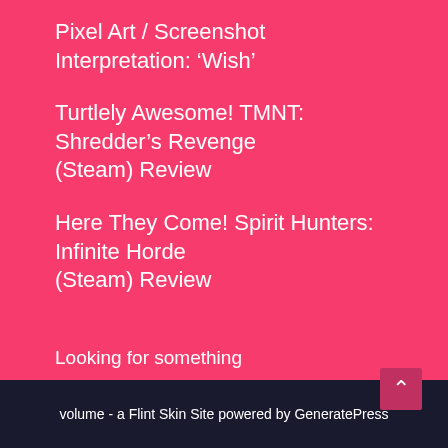Pixel Art / Screenshot Interpretation: ‘Wish’
Turtlely Awesome! TMNT: Shredder’s Revenge (Steam) Review
Here They Come! Spirit Hunters: Infinite Horde (Steam) Review
Looking for something
[Figure (screenshot): Search bar with text placeholder 'Search ...' and a dark navy search button with a magnifying glass icon]
volume - a Flint Skin Site powered by GeneratePress